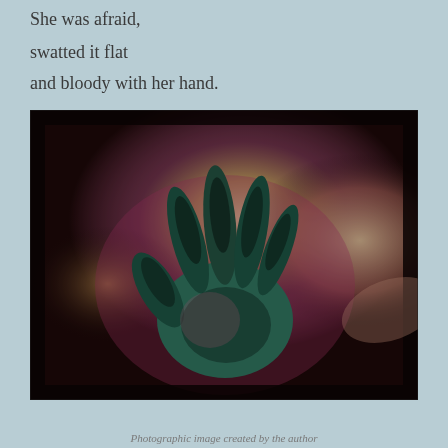She was afraid,
swatted it flat
and bloody with her hand.
[Figure (photo): A dramatic, heavily processed photograph of a dark handprint on a surface, with greenish-teal tones on the hand against a dark background with reddish and bright glowing areas around it.]
Photographic image created by the author